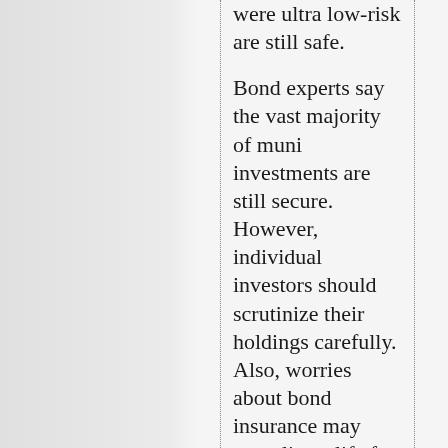were ultra low-risk are still safe. Bond experts say the vast majority of muni investments are still secure. However, individual investors should scrutinize their holdings carefully. Also, worries about bond insurance may complicate life for